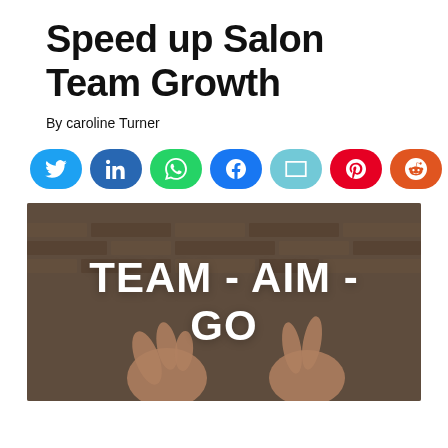Speed up Salon Team Growth
By caroline Turner
[Figure (infographic): Row of social share buttons: Twitter (light blue), LinkedIn (dark blue), WhatsApp (green), Facebook (blue), Email (light cyan), Pinterest (red), Reddit (orange)]
[Figure (photo): Photo of hands making gestures against a brick wall background, overlaid with large white text reading 'TEAM - AIM - GO']